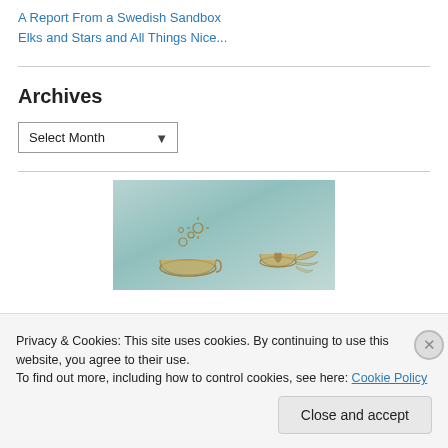A Report From a Swedish Sandbox
Elks and Stars and All Things Nice...
Archives
Select Month
[Figure (illustration): Illustrated image with teal/blue-green background showing hand-drawn style figures including a tea cup with steam and a winged coffee cup with a heart]
Privacy & Cookies: This site uses cookies. By continuing to use this website, you agree to their use.
To find out more, including how to control cookies, see here: Cookie Policy
Close and accept